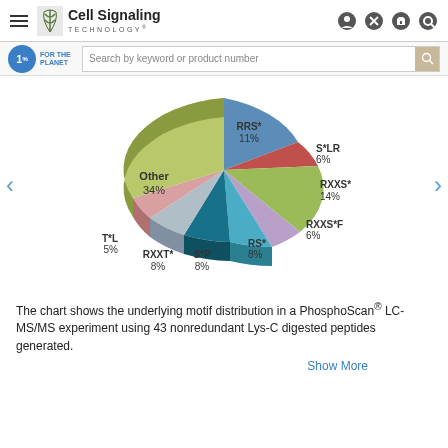Cell Signaling TECHNOLOGY®
[Figure (pie-chart): Motif distribution from PhosphoScan LC-MS/MS experiment]
The chart shows the underlying motif distribution in a PhosphoScan® LC-MS/MS experiment using 43 nonredundant Lys-C digested peptides generated.
Show More